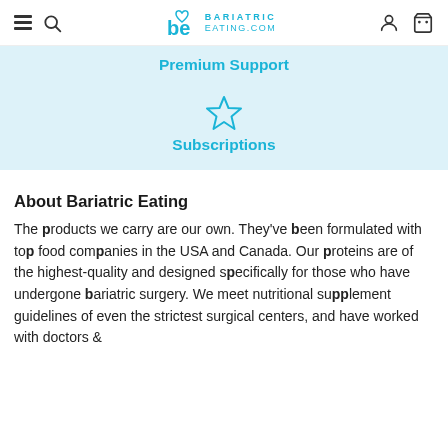be BARIATRIC EATING.COM
Premium Support
[Figure (illustration): Star icon outline in cyan/teal color]
Subscriptions
About Bariatric Eating
The products we carry are our own. They've been formulated with top food companies in the USA and Canada. Our proteins are of the highest-quality and designed specifically for those who have undergone bariatric surgery. We meet nutritional supplement guidelines of even the strictest surgical centers, and have worked with doctors &